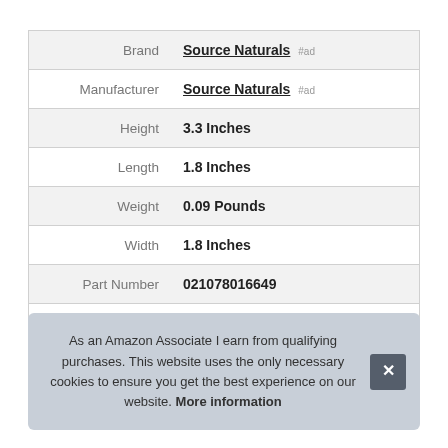| Brand | Source Naturals #ad |
| Manufacturer | Source Naturals #ad |
| Height | 3.3 Inches |
| Length | 1.8 Inches |
| Weight | 0.09 Pounds |
| Width | 1.8 Inches |
| Part Number | 021078016649 |
| Model | '021078016649 |
As an Amazon Associate I earn from qualifying purchases. This website uses the only necessary cookies to ensure you get the best experience on our website. More information